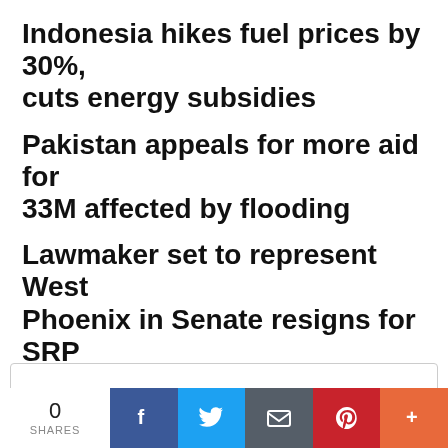Indonesia hikes fuel prices by 30%, cuts energy subsidies
Pakistan appeals for more aid for 33M affected by flooding
Lawmaker set to represent West Phoenix in Senate resigns for SRP job
Octogenarian brothers make popular hand-drawn posters
DAILY INDEPENDENT
0 SHARES | Facebook | Twitter | Email | Pinterest | More